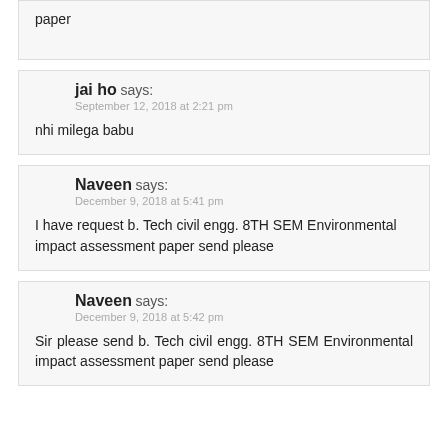paper
jai ho says:
September 12, 2018 at 2:21 pm

nhi milega babu
Naveen says:
December 9, 2018 at 5:41 pm

I have request b. Tech civil engg. 8TH SEM Environmental impact assessment paper send please
Naveen says:
December 9, 2018 at 5:42 pm

Sir please send b. Tech civil engg. 8TH SEM Environmental impact assessment paper send please